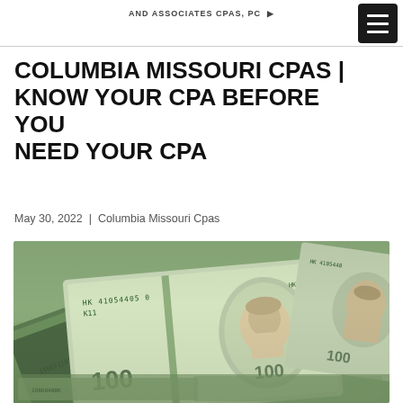AND ASSOCIATES CPAS, PC
COLUMBIA MISSOURI CPAS | KNOW YOUR CPA BEFORE YOU NEED YOUR CPA
May 30, 2022 | Columbia Missouri Cpas
[Figure (photo): Stack of US $100 bills photographed from above, showing Benjamin Franklin portraits and serial numbers HK 41054405 0 K11 and HK 4105440]